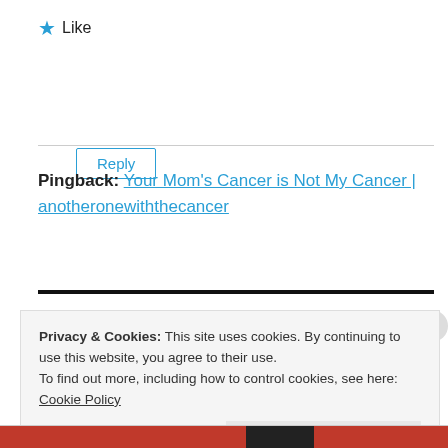★ Like
Reply
Pingback: Your Mom's Cancer is Not My Cancer | anotheronewiththecancer
Privacy & Cookies: This site uses cookies. By continuing to use this website, you agree to their use.
To find out more, including how to control cookies, see here: Cookie Policy
Close and accept